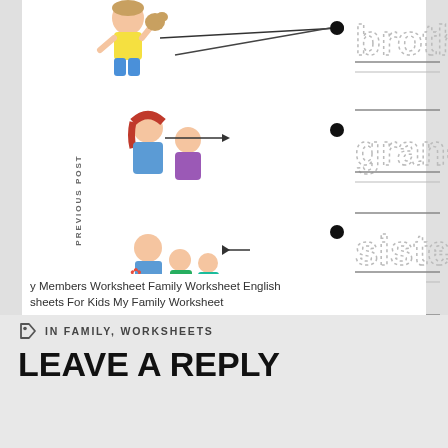[Figure (illustration): Family members worksheet screenshot showing cartoon illustrations of family members (boy at top, mother and daughter, father with children, grandfather) with arrows pointing to them, connected by a diagonal line to dotted tracing words: brother, grandpa, sister, mother. Each word has a bullet dot and writing lines below for practice.]
PREVIOUS POST
NEXT POST
y Members Worksheet Family Worksheet English sheets For Kids My Family Worksheet
IN FAMILY, WORKSHEETS
LEAVE A REPLY